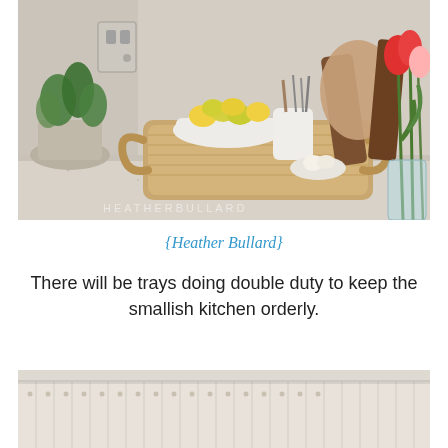[Figure (photo): A wicker tray on a kitchen countertop holding a white bowl of lemons and limes, a white crock with utensils, garlic in a small bowl, and wooden cutting boards. Red tulips in a glass vase on the right, green potted herb on the left, granite countertop surface. Watermark text reads HEATHERBULARD.]
{Heather Bullard}
There will be trays doing double duty to keep the smallish kitchen orderly.
[Figure (photo): Partial view of a white kitchen cabinet or drawer with beadboard paneling, light neutral tones, bottom portion of image.]